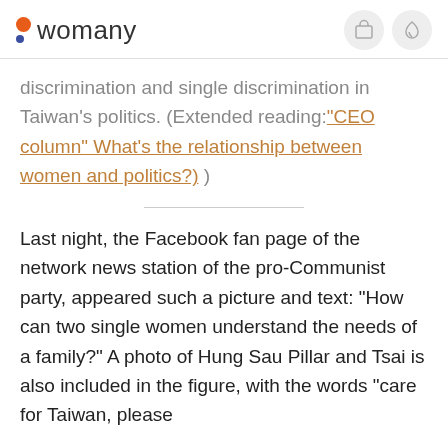womany
discrimination and single discrimination in Taiwan's politics. (Extended reading:"CEO column" What's the relationship between women and politics?) )
Last night, the Facebook fan page of the network news station of the pro-Communist party, appeared such a picture and text: "How can two single women understand the needs of a family?" A photo of Hung Sau Pillar and Tsai is also included in the figure, with the words "care for Taiwan, please